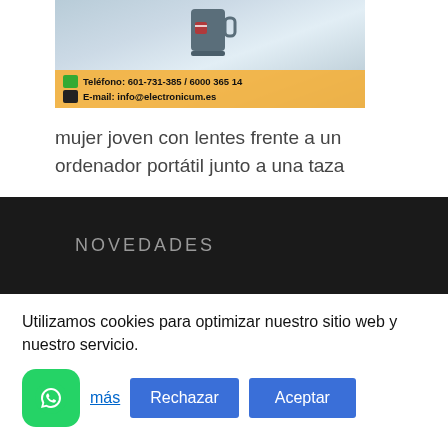[Figure (photo): Photo of a young woman with glasses in front of a laptop next to a mug, with contact info overlay showing phone and email for electronicum.es]
mujer joven con lentes frente a un ordenador portátil junto a una taza
NOVEDADES
Utilizamos cookies para optimizar nuestro sitio web y nuestro servicio.
más  Rechazar  Aceptar